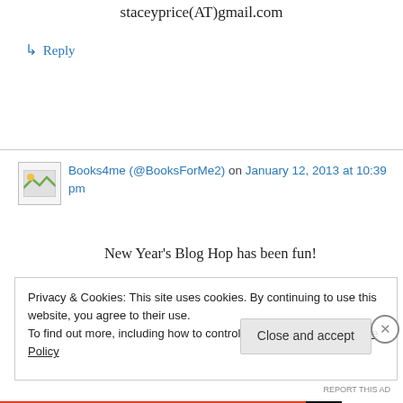staceyprice(AT)gmail.com
↳ Reply
Books4me (@BooksForMe2) on January 12, 2013 at 10:39 pm
New Year's Blog Hop has been fun!
Privacy & Cookies: This site uses cookies. By continuing to use this website, you agree to their use.
To find out more, including how to control cookies, see here: Cookie Policy
Close and accept